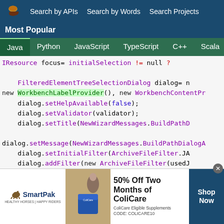Search by APIs   Search by Words   Search Projects
Most Popular
Java   Python   JavaScript   TypeScript   C++   Scala
IResource focus= initialSelection != null ?

        FilteredElementTreeSelectionDialog dialog= n
new WorkbenchLabelProvider(), new WorkbenchContentPr
        dialog.setHelpAvailable(false);
        dialog.setValidator(validator);
        dialog.setTitle(NewWizardMessages.BuildPathD

dialog.setMessage(NewWizardMessages.BuildPathDialogA
        dialog.setInitialFilter(ArchiveFileFilter.JA
        dialog.addFilter(new ArchiveFileFilter(usedJ
        dialog.setInput(root);
        dialog.setComparator(new ResourceComparator(
        dialog.setInitialSelection(focus);
[Figure (infographic): SmartPak advertisement banner: 50% Off Two Months of ColiCare, ColiCare Eligible Supplements, CODE: COLICARE10, Shop Now button]